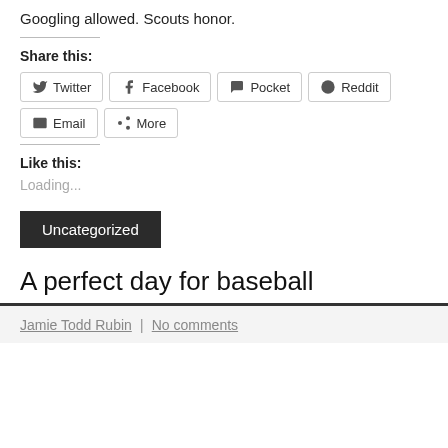Googling allowed. Scouts honor.
Share this:
Twitter | Facebook | Pocket | Reddit | Email | More
Like this:
Loading...
Uncategorized
A perfect day for baseball
Jamie Todd Rubin | No comments